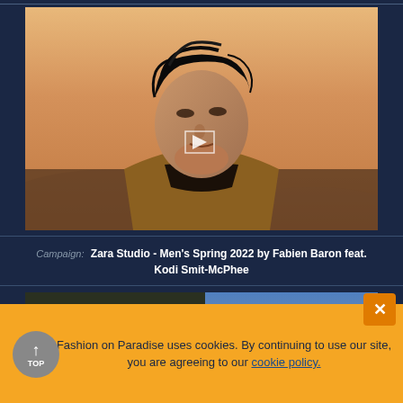[Figure (photo): Young man with dark tousled hair looking upward, wearing a brown jacket with dark collar, against a warm golden/orange desert sky background. A small white play button icon is overlaid in the center.]
Campaign: Zara Studio - Men's Spring 2022 by Fabien Baron feat. Kodi Smit-McPhee
[Figure (photo): Partially visible second photo showing what appears to be a person outdoors with bright sky in background.]
Fashion on Paradise uses cookies. By continuing to use our site, you are agreeing to our cookie policy.